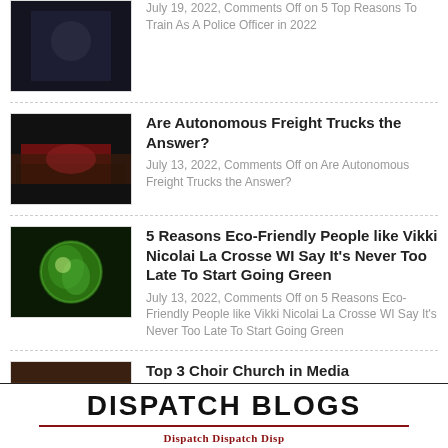July 19, 2022, Comments Off on 5 Top Reasons To Train As A Police Officer in 2022
Are Autonomous Freight Trucks the Answer? July 13, 2022, Comments Off on Are Autonomous Freight Trucks the Answer?
5 Reasons Eco-Friendly People like Vikki Nicolai La Crosse WI Say It's Never Too Late To Start Going Green. July 13, 2022, Comments Off on 5 Reasons Eco-Friendly People like Vikki Nicolai La Crosse WI Say It's Never Too Late To Start Going Green
Top 3 Choir Church in Media. July 12, 2022, Comments Off on Top 3 Choir Church in Media
DISPATCH BLOGS